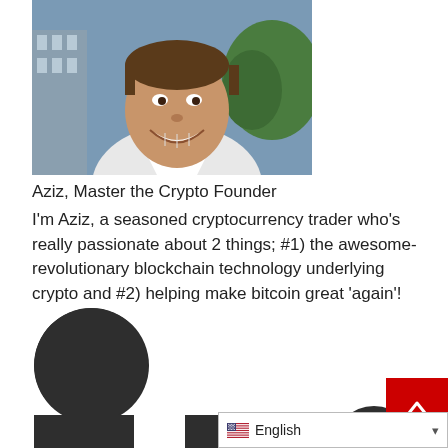[Figure (photo): Headshot photo of Aziz, smiling man wearing white collared shirt, city background]
Aziz, Master the Crypto Founder
I'm Aziz, a seasoned cryptocurrency trader who's really passionate about 2 things; #1) the awesome-revolutionary blockchain technology underlying crypto and #2) helping make bitcoin great 'again'!
[Figure (photo): Dark circular profile avatar placeholder]
[Figure (photo): Dark square icon placeholder 1]
[Figure (photo): Dark square icon placeholder 2]
[Figure (photo): Dark circular icon placeholder 2]